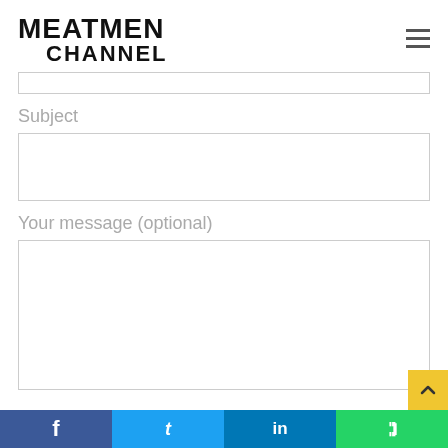MEATMEN CHANNEL
Subject
Your message (optional)
Facebook | Twitter | LinkedIn | WhatsApp